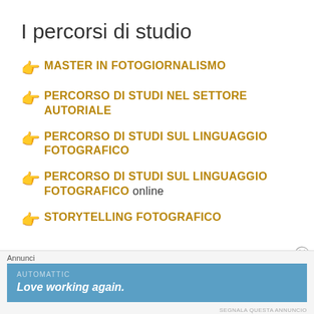I percorsi di studio
MASTER IN FOTOGIORNALISMO
PERCORSO DI STUDI NEL SETTORE AUTORIALE
PERCORSO DI STUDI SUL LINGUAGGIO FOTOGRAFICO
PERCORSO DI STUDI SUL LINGUAGGIO FOTOGRAFICO online
STORYTELLING FOTOGRAFICO
Annunci
[Figure (other): Advertisement banner for Automattic showing 'Love working again.']